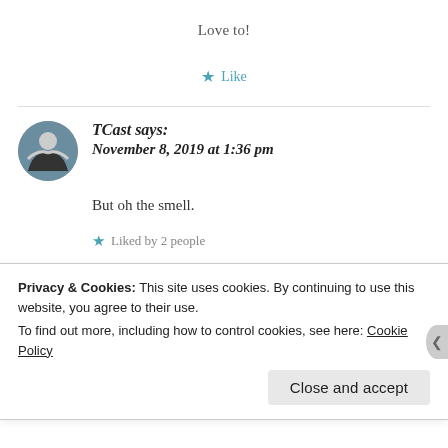Love to!
★ Like
TCast says:
November 8, 2019 at 1:36 pm
But oh the smell.
★ Liked by 2 people
Privacy & Cookies: This site uses cookies. By continuing to use this website, you agree to their use.
To find out more, including how to control cookies, see here: Cookie Policy
Close and accept